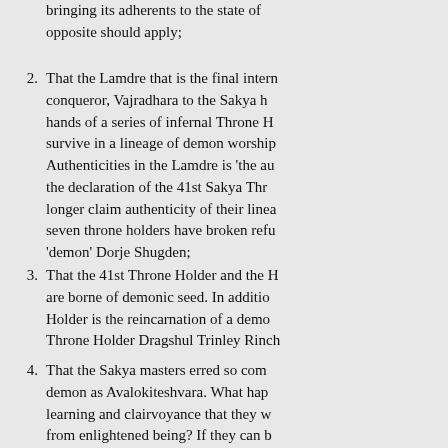bringing its adherents to the state of … opposite should apply;
2. That the Lamdre that is the final intern… conqueror, Vajradhara to the Sakya h… hands of a series of infernal Throne H… survive in a lineage of demon worship… Authenticities in the Lamdre is 'the au… the declaration of the 41st Sakya Thr… longer claim authenticity of their linea… seven throne holders have broken refu… 'demon' Dorje Shugden;
3. That the 41st Throne Holder and the H… are borne of demonic seed. In additio… Holder is the reincarnation of a demo… Throne Holder Dragshul Trinley Rinch…
4. That the Sakya masters erred so com… demon as Avalokiteshvara. What hap… learning and clairvoyance that they w… from enlightened being? If they can b… what other Sakya teachings should b…